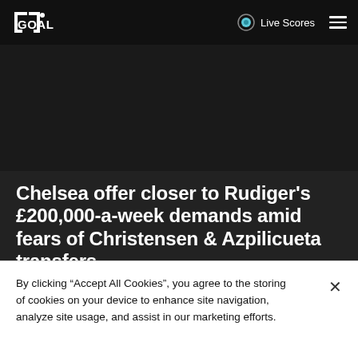GOAL | Live Scores
Chelsea offer closer to Rudiger's £200,000-a-week demands amid fears of Christensen & Azpilicueta transfers
Nizaar Kinsella
By clicking “Accept All Cookies”, you agree to the storing of cookies on your device to enhance site navigation, analyze site usage, and assist in our marketing efforts.